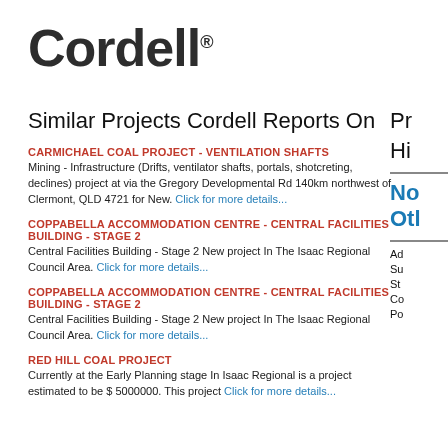Cordell
Similar Projects Cordell Reports On
CARMICHAEL COAL PROJECT - VENTILATION SHAFTS
Mining - Infrastructure (Drifts, ventilator shafts, portals, shotcreting, declines) project at via the Gregory Developmental Rd 140km northwest of, Clermont, QLD 4721 for New. Click for more details...
COPPABELLA ACCOMMODATION CENTRE - CENTRAL FACILITIES BUILDING - STAGE 2
Central Facilities Building - Stage 2 New project In The Isaac Regional Council Area. Click for more details...
COPPABELLA ACCOMMODATION CENTRE - CENTRAL FACILITIES BUILDING - STAGE 2
Central Facilities Building - Stage 2 New project In The Isaac Regional Council Area. Click for more details...
RED HILL COAL PROJECT
Currently at the Early Planning stage In Isaac Regional is a project estimated to be $ 5000000. This project Click for more details...